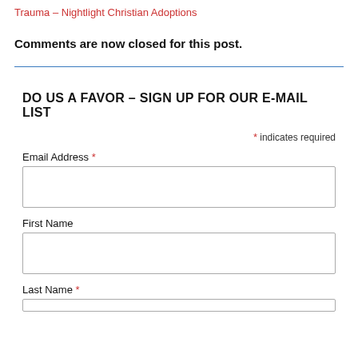Trauma – Nightlight Christian Adoptions
Comments are now closed for this post.
DO US A FAVOR – SIGN UP FOR OUR E-MAIL LIST
* indicates required
Email Address *
First Name
Last Name *